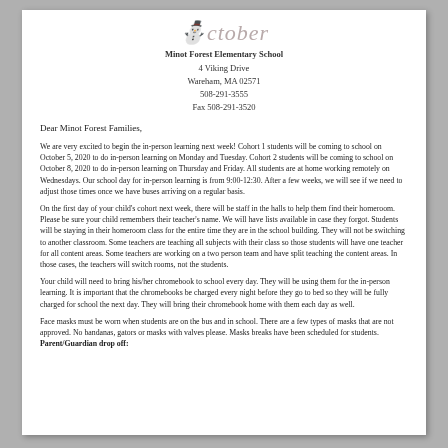October
Minot Forest Elementary School
4 Viking Drive
Wareham, MA 02571
508-291-3555
Fax 508-291-3520
Dear Minot Forest Families,
We are very excited to begin the in-person learning next week! Cohort 1 students will be coming to school on October 5, 2020 to do in-person learning on Monday and Tuesday. Cohort 2 students will be coming to school on October 8, 2020 to do in-person learning on Thursday and Friday. All students are at home working remotely on Wednesdays. Our school day for in-person learning is from 9:00-12:30. After a few weeks, we will see if we need to adjust those times once we have buses arriving on a regular basis.
On the first day of your child's cohort next week, there will be staff in the halls to help them find their homeroom. Please be sure your child remembers their teacher's name. We will have lists available in case they forgot. Students will be staying in their homeroom class for the entire time they are in the school building. They will not be switching to another classroom. Some teachers are teaching all subjects with their class so those students will have one teacher for all content areas. Some teachers are working on a two person team and have split teaching the content areas. In those cases, the teachers will switch rooms, not the students.
Your child will need to bring his/her chromebook to school every day. They will be using them for the in-person learning. It is important that the chromebooks be charged every night before they go to bed so they will be fully charged for school the next day. They will bring their chromebook home with them each day as well.
Face masks must be worn when students are on the bus and in school. There are a few types of masks that are not approved. No bandanas, gators or masks with valves please. Masks breaks have been scheduled for students.
Parent/Guardian drop off: